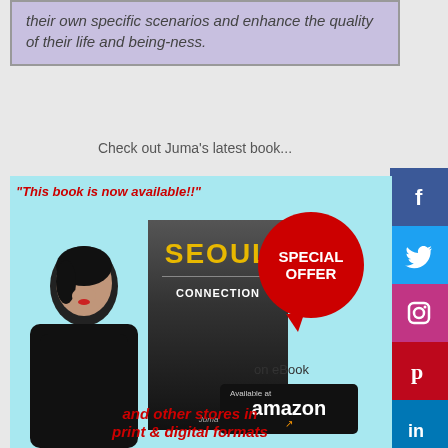their own specific scenarios and enhance the quality of their life and being-ness.
Check out Juma's latest book...
[Figure (infographic): Book advertisement for 'Seoul Connection' by Juma Vera. Light blue background with author photo, book cover showing title 'SEOUL CONNECTION', red speech bubble with 'SPECIAL OFFER', 'on eBook', Amazon logo, text 'and other stores in print & digital formats'. Social media icons panel on right side (Facebook, Twitter, Instagram, Pinterest, LinkedIn, Google+, More).]